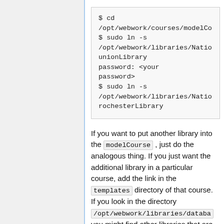$ cd /opt/webwork/courses/modelCo
$ sudo ln -s
/opt/webwork/libraries/Natio
unionLibrary
password: <your
password>
$ sudo ln -s
/opt/webwork/libraries/Natio
rochesterLibrary
If you want to put another library into the modelCourse , just do the analogous thing. If you just want the additional library in a particular course, add the link in the templates directory of that course. If you look in the directory /opt/webwork/libraries/databa you might find other libraries that are not